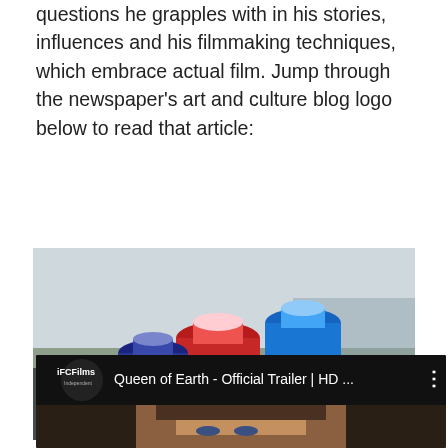questions he grapples with in his stories, influences and his filmmaking techniques, which embrace actual film. Jump through the newspaper's art and culture blog logo below to read that article:
[Figure (photo): New Times Arts blog logo showing spray paint cans with text 'New Times ARTS']
—Hans Morgenstern
[Figure (screenshot): YouTube video thumbnail for 'Queen of Earth - Official Trailer | HD ...' from IFC Films channel, showing a woman's face]